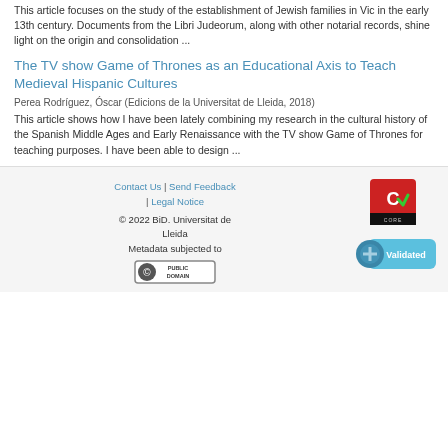This article focuses on the study of the establishment of Jewish families in Vic in the early 13th century. Documents from the Libri Judeorum, along with other notarial records, shine light on the origin and consolidation ...
The TV show Game of Thrones as an Educational Axis to Teach Medieval Hispanic Cultures
Perea Rodríguez, Óscar (Edicions de la Universitat de Lleida, 2018)
This article shows how I have been lately combining my research in the cultural history of the Spanish Middle Ages and Early Renaissance with the TV show Game of Thrones for teaching purposes. I have been able to design ...
Contact Us | Send Feedback | Legal Notice © 2022 BiD. Universitat de Lleida Metadata subjected to [Public Domain]